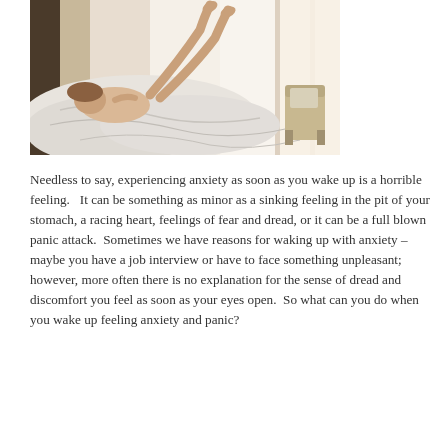[Figure (photo): A woman lying on a bed with white rumpled sheets, legs raised up playfully, viewed from the side. Natural light comes through sheer curtains in the background, and a chair is visible in the corner.]
Needless to say, experiencing anxiety as soon as you wake up is a horrible feeling.  It can be something as minor as a sinking feeling in the pit of your stomach, a racing heart, feelings of fear and dread, or it can be a full blown panic attack.  Sometimes we have reasons for waking up with anxiety – maybe you have a job interview or have to face something unpleasant; however, more often there is no explanation for the sense of dread and discomfort you feel as soon as your eyes open.  So what can you do when you wake up feeling anxiety and panic?